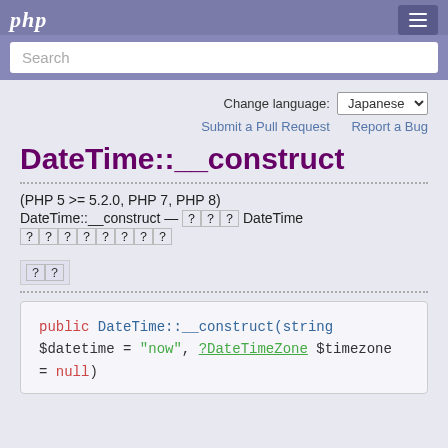php
Search
Change language: Japanese
Submit a Pull Request   Report a Bug
DateTime::__construct
(PHP 5 >= 5.2.0, PHP 7, PHP 8)
DateTime::__construct — 新しい DateTime オブジェクトを返す
説明
public DateTime::__construct(string $datetime = "now", ?DateTimeZone $timezone = null)